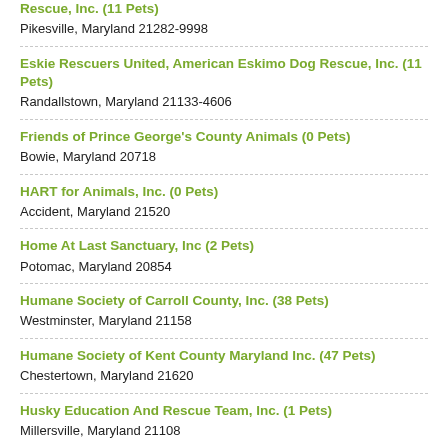Rescue, Inc. (11 Pets)
Pikesville, Maryland 21282-9998
Eskie Rescuers United, American Eskimo Dog Rescue, Inc. (11 Pets)
Randallstown, Maryland 21133-4606
Friends of Prince George's County Animals (0 Pets)
Bowie, Maryland 20718
HART for Animals, Inc. (0 Pets)
Accident, Maryland 21520
Home At Last Sanctuary, Inc (2 Pets)
Potomac, Maryland 20854
Humane Society of Carroll County, Inc. (38 Pets)
Westminster, Maryland 21158
Humane Society of Kent County Maryland Inc. (47 Pets)
Chestertown, Maryland 21620
Husky Education And Rescue Team, Inc. (1 Pets)
Millersville, Maryland 21108